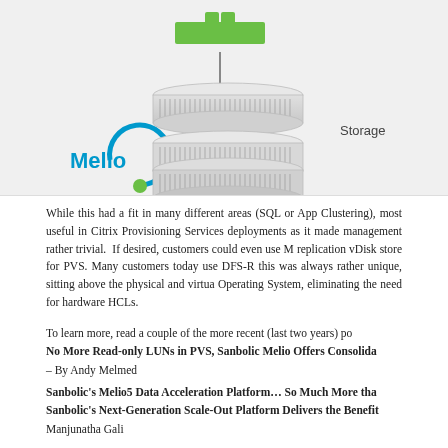[Figure (schematic): Melio logo on left with storage appliance stack (three layered silver disk units) connected via vertical line to a green network switch/router icon above. Label 'Storage' appears to the right of the stack. Background is light gray.]
While this had a fit in many different areas (SQL or App Clustering), most useful in Citrix Provisioning Services deployments as it made management rather trivial. If desired, customers could even use M replication vDisk store for PVS. Many customers today use DFS-R this was always rather unique, sitting above the physical and virtua Operating System, eliminating the need for hardware HCLs.
To learn more, read a couple of the more recent (last two years) po No More Read-only LUNs in PVS, Sanbolic Melio Offers Consolida – By Andy Melmed Sanbolic's Melio5 Data Acceleration Platform… So Much More tha Sanbolic's Next-Generation Scale-Out Platform Delivers the Benefit Manjunatha Gali